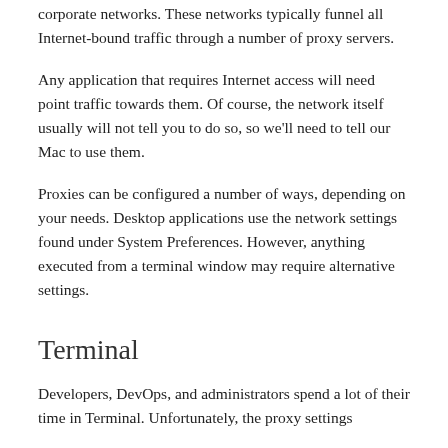corporate networks. These networks typically funnel all Internet-bound traffic through a number of proxy servers.
Any application that requires Internet access will need point traffic towards them. Of course, the network itself usually will not tell you to do so, so we'll need to tell our Mac to use them.
Proxies can be configured a number of ways, depending on your needs. Desktop applications use the network settings found under System Preferences. However, anything executed from a terminal window may require alternative settings.
Terminal
Developers, DevOps, and administrators spend a lot of their time in Terminal. Unfortunately, the proxy settings